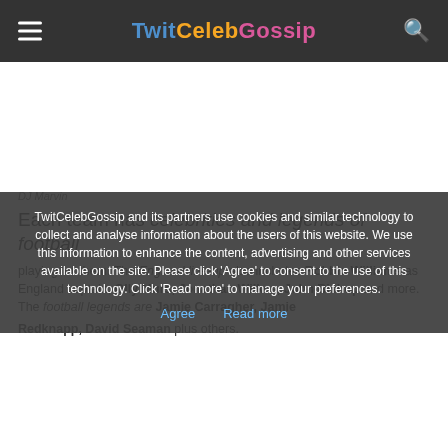TwitCelebGossip
[Figure (other): White advertisement/banner space]
DJ Marvin
Each team has celebrities and legends of football
playing for them. The England line-up also includes Robbie Williams as England captain, Olly Murs, Jonathan Wilkes, John Bishop and more. The football legends are Jamie Carragher, Jamie Redknapp, David Seaman plus others.
TwitCelebGossip and its partners use cookies and similar technology to collect and analyse information about the users of this website. We use this information to enhance the content, advertising and other services available on the site. Please click 'Agree' to consent to the use of this technology. Click 'Read more' to manage your preferences.